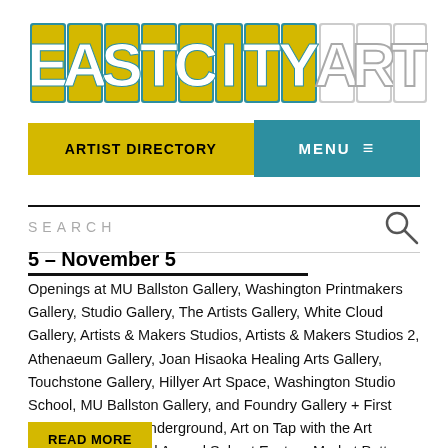[Figure (logo): EastCityArt logo in retro block lettering with yellow, teal/blue, and white colors]
ARTIST DIRECTORY
MENU ≡
SEARCH
5 – November 5
Openings at MU Ballston Gallery, Washington Printmakers Gallery, Studio Gallery, The Artists Gallery, White Cloud Gallery, Artists & Makers Studios, Artists & Makers Studios 2, Athenaeum Gallery, Joan Hisaoka Healing Arts Gallery, Touchstone Gallery, Hillyer Art Space, Washington Studio School, MU Ballston Gallery, and Foundry Gallery + First Friday at Gallery Underground, Art on Tap with the Art League Gallery, and Annual Sale at Eastern Market Pottery.